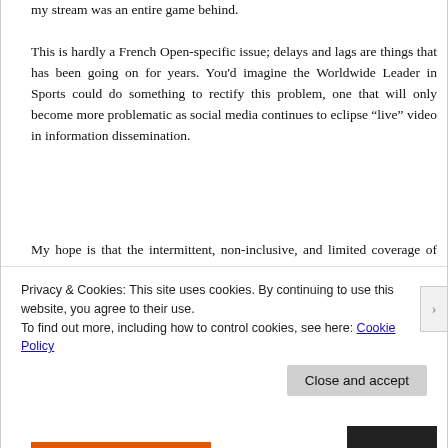my stream was an entire game behind.
This is hardly a French Open-specific issue; delays and lags are things that has been going on for years. You’d imagine the Worldwide Leader in Sports could do something to rectify this problem, one that will only become more problematic as social media continues to eclipse “live” video in information dissemination.
My hope is that the intermittent, non-inclusive, and limited coverage of tennis improves in the future. It’s doing nothing for the game, and it spreads the unfortunate message that the almighty dollar takes precedence over all else. Unless something changes,
Privacy & Cookies: This site uses cookies. By continuing to use this website, you agree to their use.
To find out more, including how to control cookies, see here: Cookie Policy